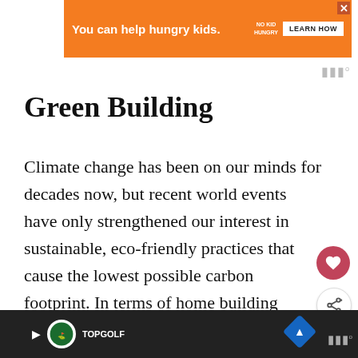[Figure (screenshot): Orange advertisement banner: 'You can help hungry kids.' with No Kid Hungry logo and LEARN HOW button]
Green Building
Climate change has been on our minds for decades now, but recent world events have only strengthened our interest in sustainable, eco-friendly practices that cause the lowest possible carbon footprint. In terms of home building trends that follow this ethos include the use of sustainable materials (think ba...nd
[Figure (screenshot): Bottom advertisement bar with Topgolf logo and navigation icons]